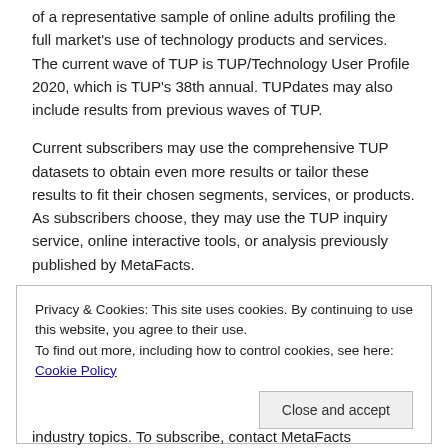of a representative sample of online adults profiling the full market's use of technology products and services. The current wave of TUP is TUP/Technology User Profile 2020, which is TUP's 38th annual. TUPdates may also include results from previous waves of TUP.
Current subscribers may use the comprehensive TUP datasets to obtain even more results or tailor these results to fit their chosen segments, services, or products. As subscribers choose, they may use the TUP inquiry service, online interactive tools, or analysis previously published by MetaFacts.
Privacy & Cookies: This site uses cookies. By continuing to use this website, you agree to their use.
To find out more, including how to control cookies, see here: Cookie Policy
industry topics. To subscribe, contact MetaFacts